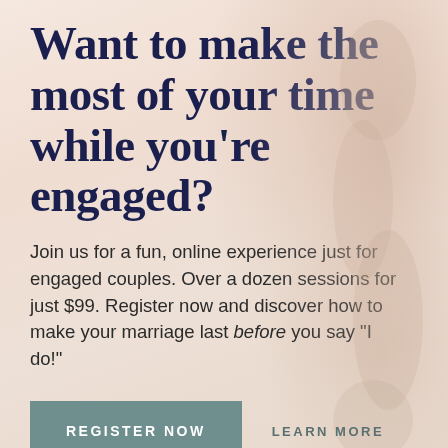Want to make the most of your time while you're engaged?
Join us for a fun, online experience just for engaged couples. Over a dozen sessions for just $99. Register now and discover how to make your marriage last before you say "I do!"
[Figure (illustration): Faded warm-toned background photo of an engaged couple, partially visible on the right side]
REGISTER NOW
LEARN MORE